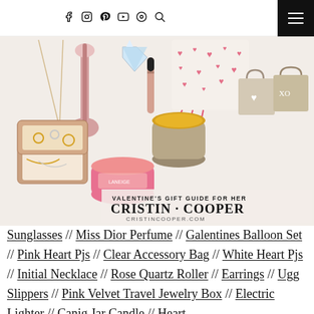Social media navigation icons and hamburger menu
[Figure (photo): Valentine's Gift Guide for Her collage showing a jewelry box, rose quartz roller, electric lighter, Laneige lip sleeping mask, Voluspa candle, heart print pajamas, tote bags, necklace, and other gift items. Branded with CRISTIN COOPER and cristincooper.com text overlay.]
Sunglasses // Miss Dior Perfume // Galentines Balloon Set // Pink Heart Pjs // Clear Accessory Bag // White Heart Pjs // Initial Necklace // Rose Quartz Roller // Earrings // Ugg Slippers // Pink Velvet Travel Jewelry Box // Electric Lighter // Canig Jar Candle // Heart